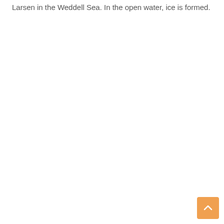Larsen in the Weddell Sea. In the open water, ice is formed.
[Figure (other): Back to top button — orange rounded square with upward-pointing chevron arrow]